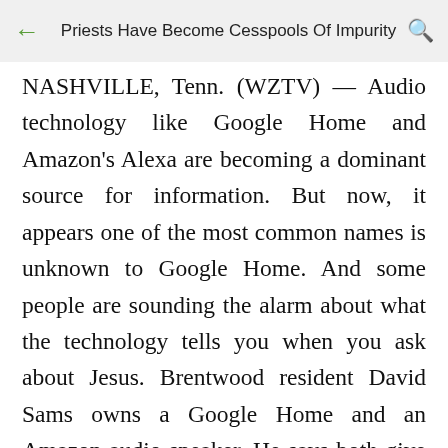Priests Have Become Cesspools Of Impurity
NASHVILLE, Tenn. (WZTV) — Audio technology like Google Home and Amazon's Alexa are becoming a dominant source for information. But now, it appears one of the most common names is unknown to Google Home. And some people are sounding the alarm about what the technology tells you when you ask about Jesus. Brentwood resident David Sams owns a Google Home and an Amazon audio speaker. He says both give two different answers when asking "Who is Jesus Christ?" "I even asked Google who is David Sams? Google know who I was, but Google did not know